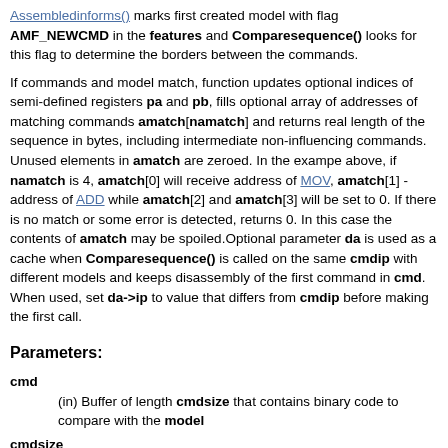Assembledinforms() marks first created model with flag AMF_NEWCMD in the features and Comparesequence() looks for this flag to determine the borders between the commands.
If commands and model match, function updates optional indices of semi-defined registers pa and pb, fills optional array of addresses of matching commands amatch[namatch] and returns real length of the sequence in bytes, including intermediate non-influencing commands. Unused elements in amatch are zeroed. In the exampe above, if namatch is 4, amatch[0] will receive address of MOV, amatch[1] - address of ADD while amatch[2] and amatch[3] will be set to 0. If there is no match or some error is detected, returns 0. In this case the contents of amatch may be spoiled.Optional parameter da is used as a cache when Comparesequence() is called on the same cmdip with different models and keeps disassembly of the first command in cmd. When used, set da->ip to value that differs from cmdip before making the first call.
Parameters:
cmd
(in) Buffer of length cmdsize that contains binary code to compare with the model
cmdsize
(in) Length of valid data in cmd, bytes
cmdip
(in) Address of the cmd in the memory
decode
(in) Optional pointer to decoding information produced by the